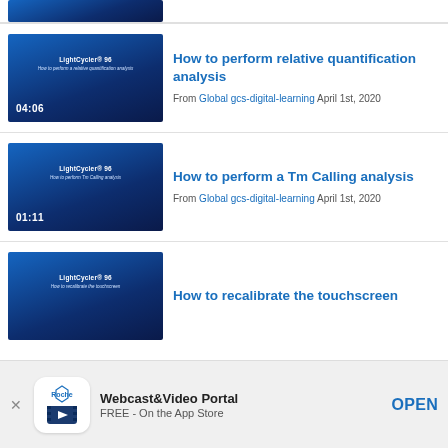[Figure (screenshot): Partial video thumbnail at top of page — cropped blue LightCycler 96 video thumbnail]
How to perform relative quantification analysis
From Global gcs-digital-learning April 1st, 2020
[Figure (screenshot): Video thumbnail: LightCycler 96 - How to perform a relative quantification analysis, duration 04:06]
How to perform a Tm Calling analysis
From Global gcs-digital-learning April 1st, 2020
[Figure (screenshot): Video thumbnail: LightCycler 96 - How to perform Tm Calling analysis, duration 01:11]
How to recalibrate the touchscreen
[Figure (screenshot): Video thumbnail: LightCycler 96 - How to recalibrate the touchscreen]
Webcast&Video Portal
FREE - On the App Store
OPEN